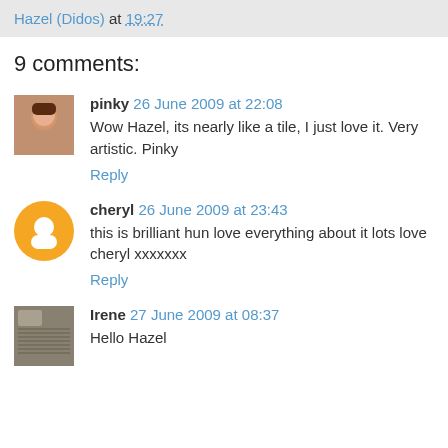Hazel (Didos) at 19:27
9 comments:
pinky 26 June 2009 at 22:08
Wow Hazel, its nearly like a tile, I just love it. Very artistic. Pinky
Reply
cheryl 26 June 2009 at 23:43
this is brilliant hun love everything about it lots love cheryl xxxxxxx
Reply
Irene 27 June 2009 at 08:37
Hello Hazel